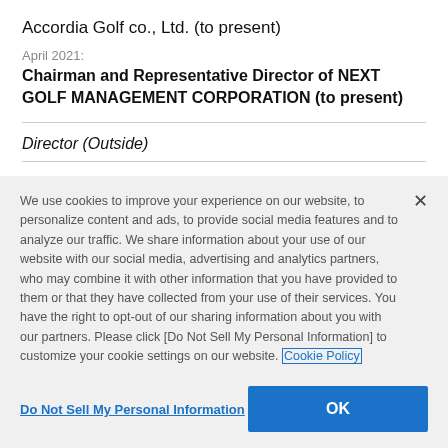Accordia Golf co., Ltd. (to present)
April 2021:
Chairman and Representative Director of NEXT GOLF MANAGEMENT CORPORATION (to present)
Director (Outside)
We use cookies to improve your experience on our website, to personalize content and ads, to provide social media features and to analyze our traffic. We share information about your use of our website with our social media, advertising and analytics partners, who may combine it with other information that you have provided to them or that they have collected from your use of their services. You have the right to opt-out of our sharing information about you with our partners. Please click [Do Not Sell My Personal Information] to customize your cookie settings on our website. Cookie Policy
Do Not Sell My Personal Information
OK